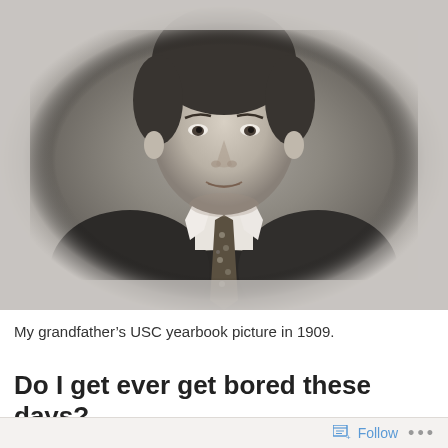[Figure (photo): Black and white vintage yearbook portrait photograph of a young man in a suit and patterned tie, displayed in an oval vignette frame. The photo is from 1909 USC yearbook.]
My grandfather’s USC yearbook picture in 1909.
Do I get ever get bored these days?
Follow ...